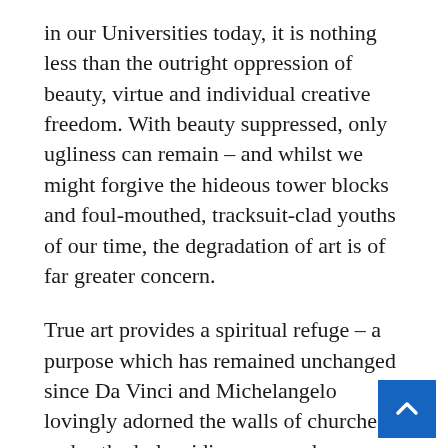in our Universities today, it is nothing less than the outright oppression of beauty, virtue and individual creative freedom. With beauty suppressed, only ugliness can remain – and whilst we might forgive the hideous tower blocks and foul-mouthed, tracksuit-clad youths of our time, the degradation of art is of far greater concern.
True art provides a spiritual refuge – a purpose which has remained unchanged since Da Vinci and Michelangelo lovingly adorned the walls of churches and cathedrals, aiding men and women in their communion with God. And where Modernist galleries lie empty but for a few quirky stragglers, traditional galleries bustle with life day after day. Since the Modernist notion of freedom is not openly accompanied by beauty; it is represents only the freedom to produce art that delights no one.